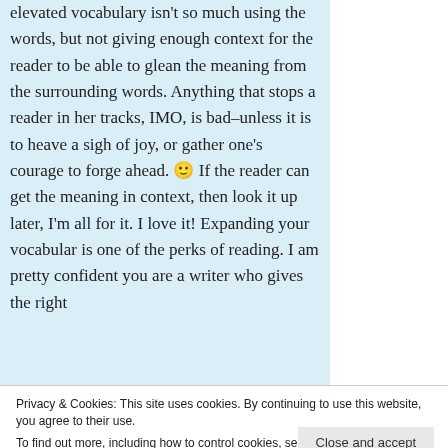elevated vocabulary isn't so much using the words, but not giving enough context for the reader to be able to glean the meaning from the surrounding words. Anything that stops a reader in her tracks, IMO, is bad–unless it is to heave a sigh of joy, or gather one's courage to forge ahead. 🙂 If the reader can get the meaning in context, then look it up later, I'm all for it. I love it! Expanding your vocabular is one of the perks of reading. I am pretty confident you are a writer who gives the right
Privacy & Cookies: This site uses cookies. By continuing to use this website, you agree to their use.
To find out more, including how to control cookies, see here: Cookie Policy
Close and accept